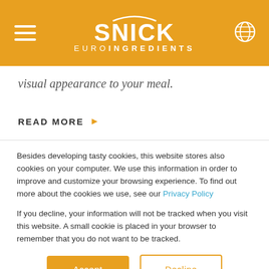SNICK EUROINGREDIENTS
visual appearance to your meal.
READ MORE
Besides developing tasty cookies, this website stores also cookies on your computer. We use this information in order to improve and customize your browsing experience. To find out more about the cookies we use, see our Privacy Policy
If you decline, your information will not be tracked when you visit this website. A small cookie is placed in your browser to remember that you do not want to be tracked.